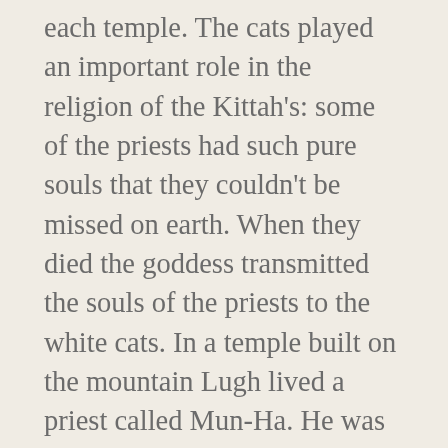each temple. The cats played an important role in the religion of the Kittah's: some of the priests had such pure souls that they couldn't be missed on earth. When they died the goddess transmitted the souls of the priests to the white cats. In a temple built on the mountain Lugh lived a priest called Mun-Ha. He was very religious so that it was said that the god Song-Hyo himself created the tresses in Mun-Ha's golden beard. Mun-Ha's thoughts were dedicated only to the god and the goddess of the soul-transmission: it was the goddess who decided which of the priests' souls were allowed to live again in the bodies of cats, and to white cats